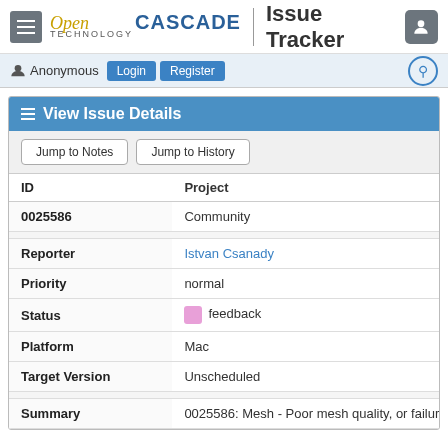OpenCASCADE TECHNOLOGY | Issue Tracker
Anonymous Login Register
View Issue Details
Jump to Notes | Jump to History
| ID | Project |
| --- | --- |
| 0025586 | Community |
| Reporter | Istvan Csanady |
| Priority | normal |
| Status | feedback |
| Platform | Mac |
| Target Version | Unscheduled |
| Summary | 0025586: Mesh - Poor mesh quality, or failure of m |